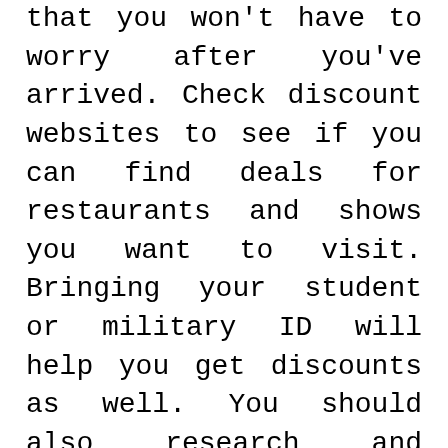that you won't have to worry after you've arrived. Check discount websites to see if you can find deals for restaurants and shows you want to visit. Bringing your student or military ID will help you get discounts as well. You should also research and brainstorm a few free ways to enjoy your downtime in between events. Many all-inclusive resorts offer free activities such as non-motorized water sports. This could also mean playing Frisbee on the beach or attending a local sculpture garden. Come up with 3 to 5 ideas before you leave so that you won't be pressured to pay for a good time when you have nothing else planned.
Take Cheap Public Transportation